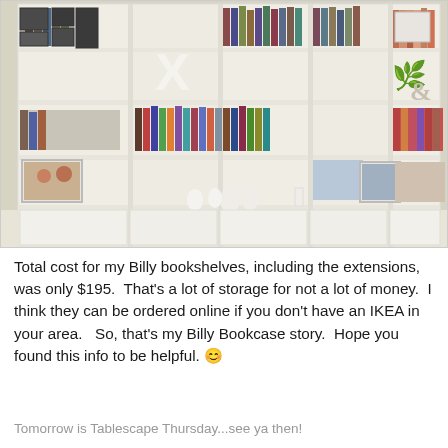[Figure (photo): A wide wall of white IKEA Billy bookshelves with extensions, filled with books, framed photos, decorative items including bunny figurines, an 'X' letter, and an ampersand. The lower portion has closed cabinet doors in white.]
Total cost for my Billy bookshelves, including the extensions, was only $195.  That's a lot of storage for not a lot of money.  I think they can be ordered online if you don't have an IKEA in your area.   So, that's my Billy Bookcase story.  Hope you found this info to be helpful. 😊
Tomorrow is Tablescape Thursday...see ya then!